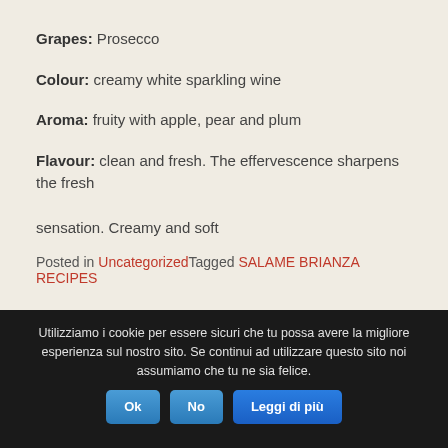Grapes: Prosecco
Colour: creamy white sparkling wine
Aroma: fruity with apple, pear and plum
Flavour: clean and fresh. The effervescence sharpens the fresh sensation. Creamy and soft
Posted in UncategorizedTagged SALAME BRIANZA RECIPES
Utilizziamo i cookie per essere sicuri che tu possa avere la migliore esperienza sul nostro sito. Se continui ad utilizzare questo sito noi assumiamo che tu ne sia felice. Ok No Leggi di più